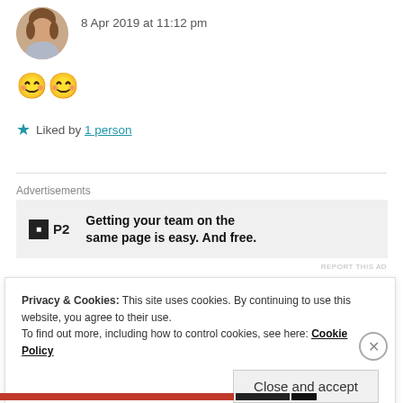8 Apr 2019 at 11:12 pm
[Figure (photo): Circular avatar photo of a woman with brown hair]
😊😊
★ Liked by 1 person
Advertisements
[Figure (other): Advertisement banner: P2 logo with text 'Getting your team on the same page is easy. And free.']
REPORT THIS AD
Privacy & Cookies: This site uses cookies. By continuing to use this website, you agree to their use.
To find out more, including how to control cookies, see here: Cookie Policy
Close and accept